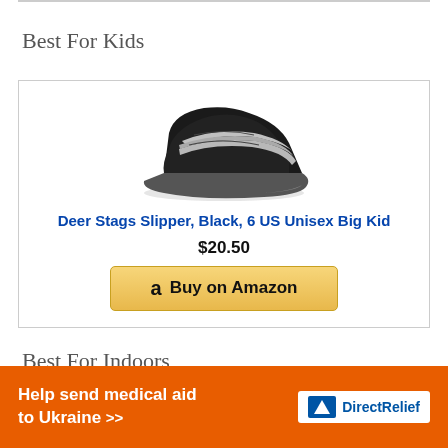Best For Kids
[Figure (photo): Black Deer Stags moccasin slipper with gray fleece lining]
Deer Stags Slipper, Black, 6 US Unisex Big Kid
$20.50
Buy on Amazon
Best For Indoors
[Figure (infographic): Orange Direct Relief ad banner: Help send medical aid to Ukraine >> with Direct Relief logo]